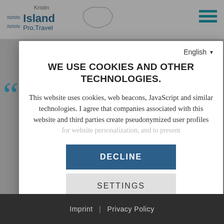[Figure (screenshot): Background of a travel website (Island ProTravel) showing logo, hamburger menu icon, quote mark, and partial page content, dimmed behind a modal overlay]
WE USE COOKIES AND OTHER TECHNOLOGIES.
This website uses cookies, web beacons, JavaScript and similar technologies. I agree that companies associated with this website and third parties create pseudonymized user profiles
DECLINE
SETTINGS
ACCEPT ALL
Imprint | Privacy Policy